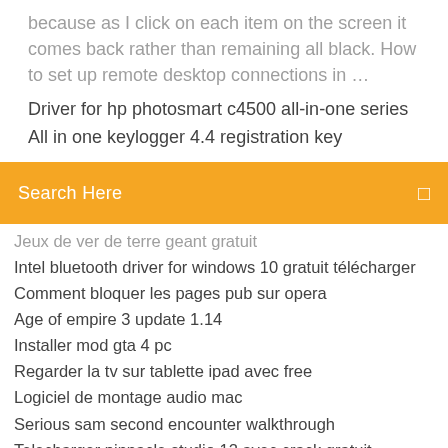because as I click on each item on the screen it comes back rather than remaining all black. How to set up remote desktop connections in …
Driver for hp photosmart c4500 all-in-one series
All in one keylogger 4.4 registration key
Search Here
Jeux de ver de terre geant gratuit
Intel bluetooth driver for windows 10 gratuit télécharger
Comment bloquer les pages pub sur opera
Age of empire 3 update 1.14
Installer mod gta 4 pc
Regarder la tv sur tablette ipad avec free
Logiciel de montage audio mac
Serious sam second encounter walkthrough
Telecharger pinnacle studio 12 avec crack gratuit
Sims 4 métiers qui rapportent le plus
Star wars jedi knight 2 android apk